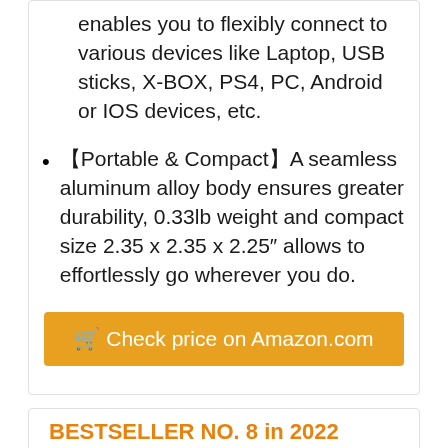enables you to flexibly connect to various devices like Laptop, USB sticks, X-BOX, PS4, PC, Android or IOS devices, etc.
【Portable & Compact】A seamless aluminum alloy body ensures greater durability, 0.33lb weight and compact size 2.35 x 2.35 x 2.25″ allows to effortlessly go wherever you do.
🛒 Check price on Amazon.com
BESTSELLER NO. 8 in 2022